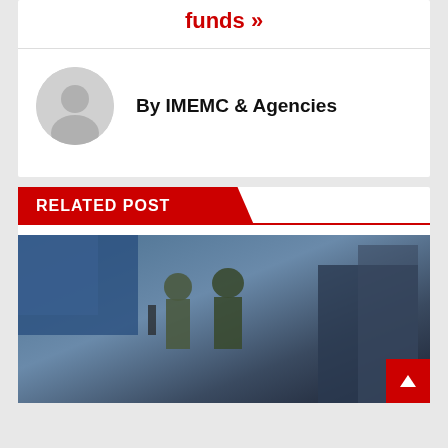funds »
By IMEMC & Agencies
RELATED POST
[Figure (photo): Armed soldiers in military gear standing in an urban area, with military vehicles in the background. Tags: ISRAELI ATTACKS, JENIN, NEWS REPORT, WEST BANK]
Israeli Soldiers Shoot Three Palestinians On Quie...